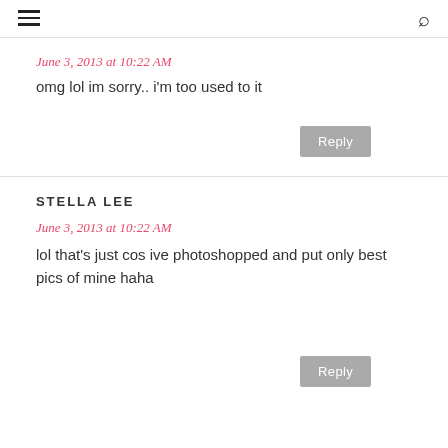June 3, 2013 at 10:22 AM
omg lol im sorry.. i'm too used to it
Reply
STELLA LEE
June 3, 2013 at 10:22 AM
lol that's just cos ive photoshopped and put only best pics of mine haha
Reply